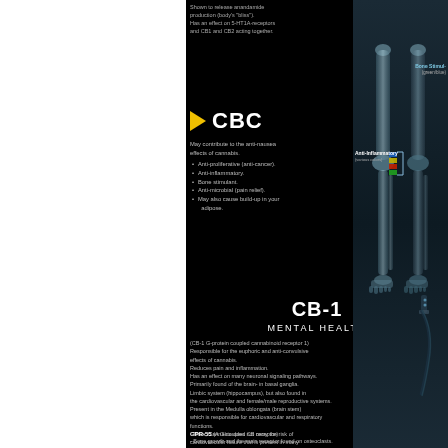Shown to release anandamide production (body's "bliss"). Has an effect on 5-HT1A-receptors and CB1 and CB2 acting together.
CBC
May contribute to the anti-nausea effects of cannabis. Anti-proliferative (anti-cancer). Anti-inflammatory. Bone stimulant. Anti-microbial (pain relief). May also cause build-up in your adipose.
[Figure (illustration): X-ray skeletal image of human legs with colored annotation blocks showing Anti-Inflammatory and Bone Stimulant labels at the knee joint area.]
CB-1
MENTAL HEALTH
(CB-1 G-protein coupled cannabinoid receptor 1) Responsible for the euphoric and anti-convulsive effects of cannabis. Reduces pain and inflammation. Has an effect on many neuronal signaling pathways. Primarily found of the brain- in basal ganglia. Limbic system (hippocampus), but also found in the cardiovascular and female/male reproductive systems. Present in the Medulla oblongata (brain stem) which is responsible for cardiovascular and respiratory functions. Thus, Cannabis does not carry the risk of cardiovascular failure that is present in many pharmaceuticals.
GPR-55 (A G-coupled CB receptor) - Bone growth and the main receptor found on osteoclasts. Blocking GPR-55 may be a treatment for osteoporosis.